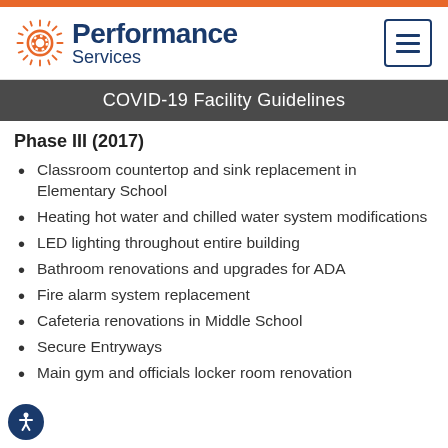Performance Services
COVID-19 Facility Guidelines
Phase III (2017)
Classroom countertop and sink replacement in Elementary School
Heating hot water and chilled water system modifications
LED lighting throughout entire building
Bathroom renovations and upgrades for ADA
Fire alarm system replacement
Cafeteria renovations in Middle School
Secure Entryways
Main gym and officials locker room renovation